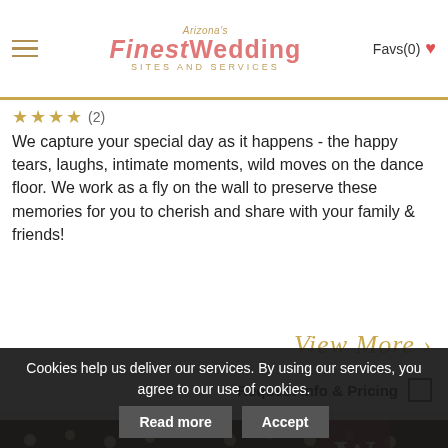Arizona's FINEST WEDDING SITES AND SERVICES | Favs(0)
★★★★ (2)
We capture your special day as it happens - the happy tears, laughs, intimate moments, wild moves on the dance floor. We work as a fly on the wall to preserve these memories for you to cherish and share with your family & friends!
View More ›
Request Info & Pricing
[Figure (photo): Interior photo of a venue with red draping, string lights, and yellow-framed windows, with a watermark W logo]
Cookies help us deliver our services. By using our services, you agree to our use of cookies.